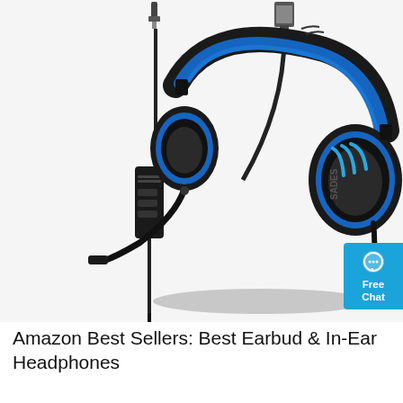[Figure (photo): A black and blue SADES gaming headset with over-ear cups, a boom microphone, inline volume control, 3.5mm audio jack and USB connector cables shown. A 'Free Chat' badge appears in the upper right corner of the image.]
Amazon Best Sellers: Best Earbud & In-Ear Headphones